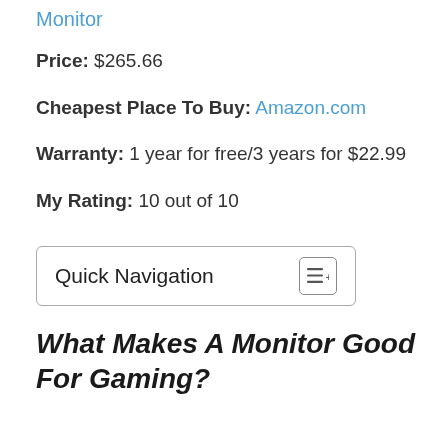Monitor
Price: $265.66
Cheapest Place To Buy: Amazon.com
Warranty: 1 year for free/3 years for $22.99
My Rating: 10 out of 10
[Figure (other): Quick Navigation box with menu icon button]
What Makes A Monitor Good For Gaming?